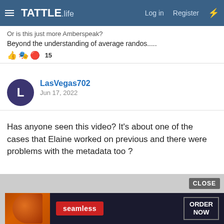TATTLE.life — Log in  Register
Or is this just more Amberspeak?
Beyond the understanding of average randos.....
15 reactions
LasVegas702
Jun 17, 2022
Has anyone seen this video? It's about one of the cases that Elaine worked on previous and there were problems with the metadata too ?
[Figure (screenshot): Advertisement banner for Seamless food delivery with pizza image, 'seamless' logo in red, and 'ORDER NOW' button. A 'CLOSE' button is visible in the top-right corner.]